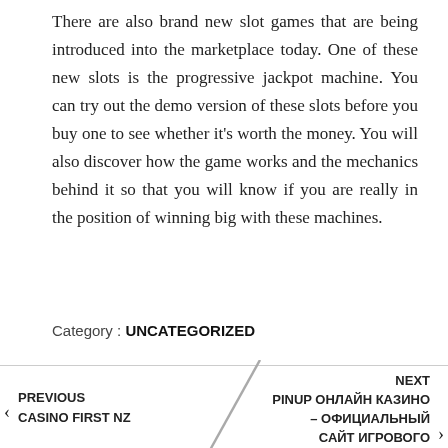There are also brand new slot games that are being introduced into the marketplace today. One of these new slots is the progressive jackpot machine. You can try out the demo version of these slots before you buy one to see whether it's worth the money. You will also discover how the game works and the mechanics behind it so that you will know if you are really in the position of winning big with these machines.
Category : UNCATEGORIZED
PREVIOUS CASINO FIRST NZ
NEXT PINUP ОНЛАЙН КАЗИНО – ОФИЦИАЛЬНЫЙ САЙТ ИГРОВОГО КЛУБА ПИНАП